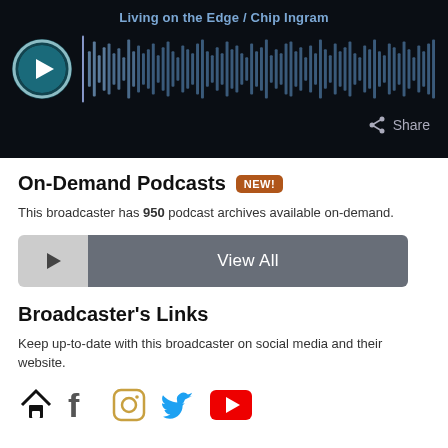[Figure (screenshot): Audio player widget with dark background showing 'Living on the Edge / Chip Ingram' title, play button circle, waveform visualization, and share button]
On-Demand Podcasts NEW!
This broadcaster has 950 podcast archives available on-demand.
[Figure (other): View All button with play icon on left gray panel and dark gray 'View All' text panel]
Broadcaster's Links
Keep up-to-date with this broadcaster on social media and their website.
[Figure (other): Social media icons: home/website, Facebook, Instagram, Twitter, YouTube]